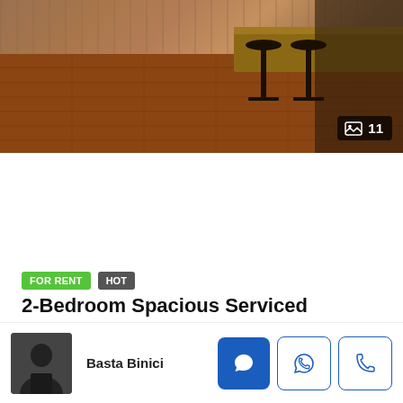[Figure (photo): Interior photo of apartment showing hardwood floors and bar stools]
[Figure (photo): Blue thumbnail box with image/photo icon]
FOR RENT
HOT
2-Bedroom Spacious Serviced Apartment For Rent In BKK1
Phnom Penh, BKK1, Chamkarmon
$1,800/month
Basta Binici